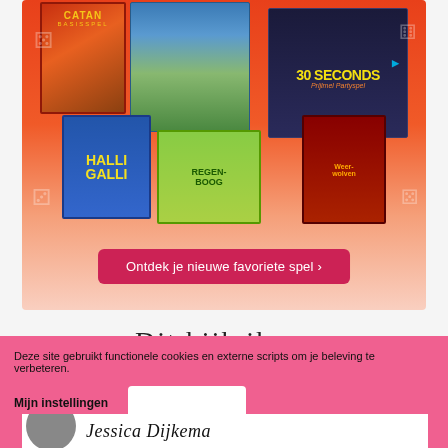[Figure (illustration): Promotional banner showing multiple board game boxes (Catan, Halli Galli, 30 Seconds, Regenboog, Weerwolven) arranged on a red-to-pink gradient background with dice decorations and a call-to-action button 'Ontdek je nieuwe favoriete spel']
Dit kijk ik nu
Deze site gebruikt functionele cookies en externe scripts om je beleving te verbeteren.
Mijn instellingen
Jessica Dijkema